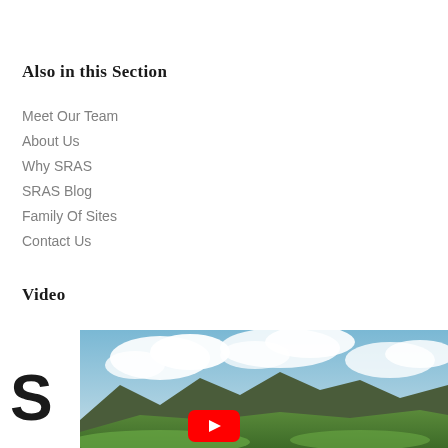Also in this Section
Meet Our Team
About Us
Why SRAS
SRAS Blog
Family Of Sites
Contact Us
Video
[Figure (screenshot): Video thumbnail showing a mountain landscape with blue sky and clouds, with a YouTube-style red play button overlay and the SRAS logo partially visible on the left side.]